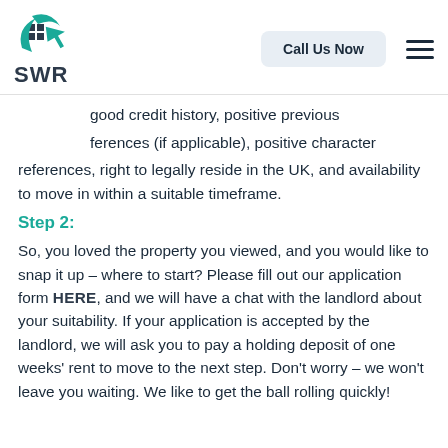[Figure (logo): SWR logo with house icon and teal swoosh, text 'SWR' below]
good credit history, positive previous ferences (if applicable), positive character references, right to legally reside in the UK, and availability to move in within a suitable timeframe.
Step 2:
So, you loved the property you viewed, and you would like to snap it up – where to start? Please fill out our application form HERE, and we will have a chat with the landlord about your suitability. If your application is accepted by the landlord, we will ask you to pay a holding deposit of one weeks' rent to move to the next step. Don't worry – we won't leave you waiting. We like to get the ball rolling quickly!